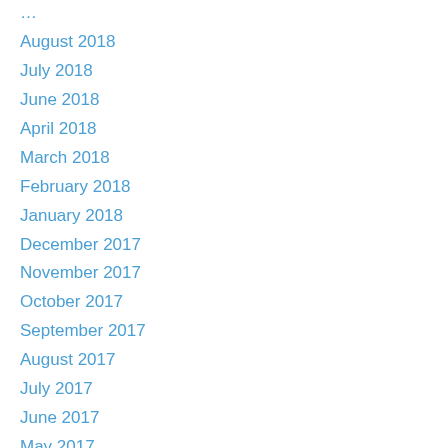August 2018
July 2018
June 2018
April 2018
March 2018
February 2018
January 2018
December 2017
November 2017
October 2017
September 2017
August 2017
July 2017
June 2017
May 2017
February 2017
January 2017
December 2016
November 2016
October 2016